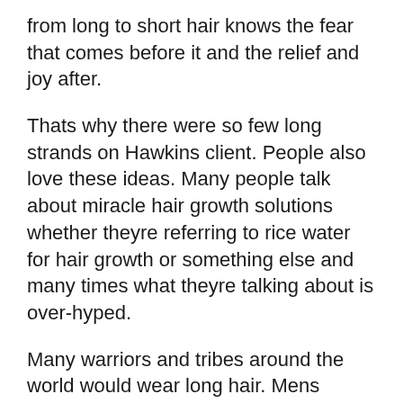from long to short hair knows the fear that comes before it and the relief and joy after.
Thats why there were so few long strands on Hawkins client. People also love these ideas. Many people talk about miracle hair growth solutions whether theyre referring to rice water for hair growth or something else and many times what theyre talking about is over-hyped.
Many warriors and tribes around the world would wear long hair. Mens Haircuts Haircuts For Men Hairstyles Long To Short Hair Short Hair Styles Before And After Haircut Best Barber Great Lengths Hair Transformation. Growing Out Long Hair For Men FAQ.